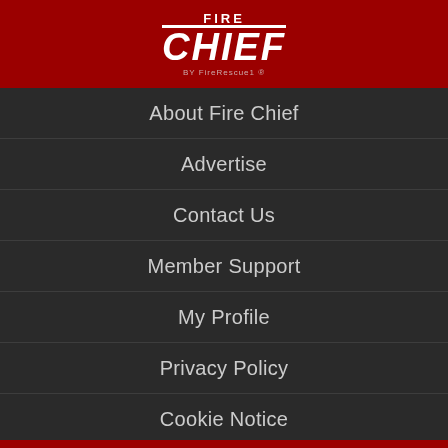[Figure (logo): Fire Chief logo by FireRescue1 on dark red background]
About Fire Chief
Advertise
Contact Us
Member Support
My Profile
Privacy Policy
Cookie Notice